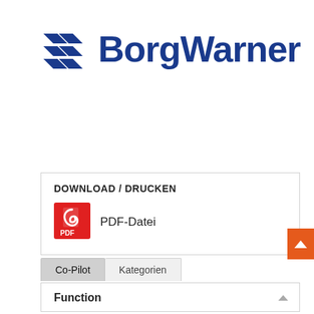[Figure (logo): BorgWarner logo: blue stylized arrow/wave icon on left, bold dark blue 'BorgWarner' text on right]
DOWNLOAD / DRUCKEN
[Figure (illustration): Red Adobe PDF icon square]
PDF-Datei
Co-Pilot  Kategorien
Function